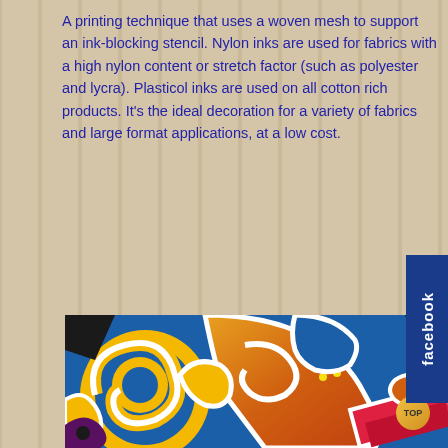A printing technique that uses a woven mesh to support an ink-blocking stencil. Nylon inks are used for fabrics with a high nylon content or stretch factor (such as polyester and lycra). Plasticol inks are used on all cotton rich products. It's the ideal decoration for a variety of fabrics and large format applications, at a low cost.
[Figure (photo): Close-up photo of vibrant screen-printed typographic artwork showing colorful letters in yellow, orange, blue, red with white outlines on a textured surface]